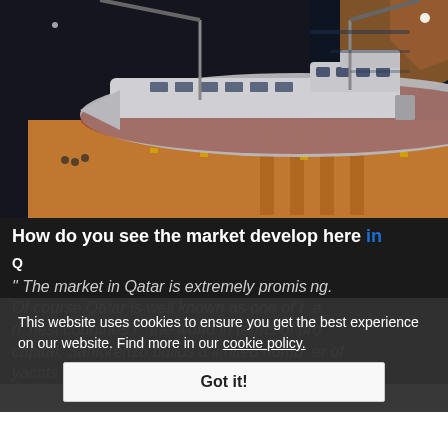[Figure (photo): Aerial night view of a large luxury superyacht being positioned in a dry dock or shipyard, lit by artificial lights. Workers visible on the dockside.]
How do you see the market develop here in
Q This website uses cookies to ensure you get the best experience on our website. Find more in our cookie policy. Got it!
"The market in Qatar is extremely promising. Of course Qatar is well known as one of the richest countries in the world in terms of pro capital. Sanlorenzo builds a limited number of yachts per year, that are all custom-made,